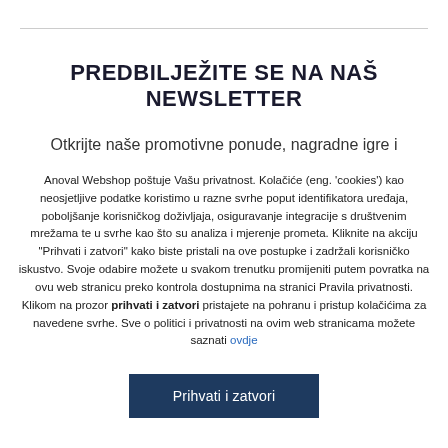PREDBILJEŽITE SE NA NAŠ NEWSLETTER
Otkrijte naše promotivne ponude, nagradne igre i
Anoval Webshop poštuje Vašu privatnost. Kolačiće (eng. 'cookies') kao neosjetljive podatke koristimo u razne svrhe poput identifikatora uređaja, poboljšanje korisničkog doživljaja, osiguravanje integracije s društvenim mrežama te u svrhe kao što su analiza i mjerenje prometa. Kliknite na akciju "Prihvati i zatvori" kako biste pristali na ove postupke i zadržali korisničko iskustvo. Svoje odabire možete u svakom trenutku promijeniti putem povratka na ovu web stranicu preko kontrola dostupnima na stranici Pravila privatnosti. Klikom na prozor prihvati i zatvori pristajete na pohranu i pristup kolačićima za navedene svrhe. Sve o politici i privatnosti na ovim web stranicama možete saznati ovdje
Prihvati i zatvori